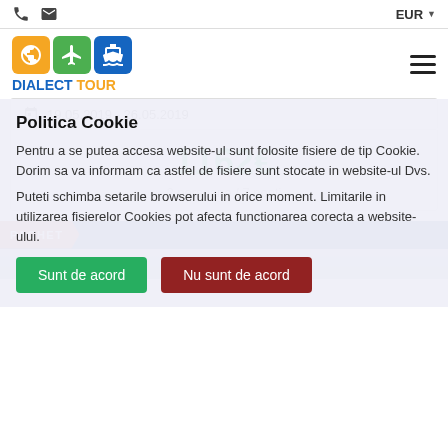EUR
[Figure (logo): Dialect Tour logo with globe, airplane, and ship icons in orange, green, and blue boxes]
19.05.2019 - 26.05.2019
1162€
2 persoane / 7 nopti
PACHET
Politica Cookie
Pentru a se putea accesa website-ul sunt folosite fisiere de tip Cookie. Dorim sa va informam ca astfel de fisiere sunt stocate in website-ul Dvs.
Puteti schimba setarile browserului in orice moment. Limitarile in utilizarea fisierelor Cookies pot afecta functionarea corecta a website-ului.
Sunt de acord
Nu sunt de acord